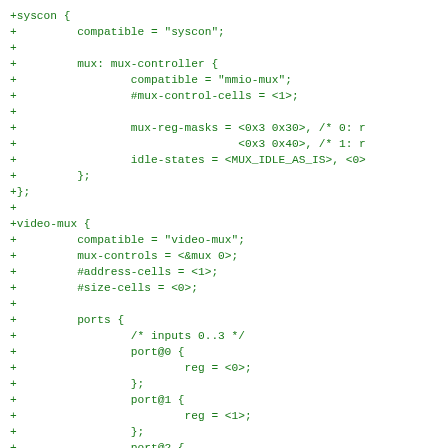+syscon {
+         compatible = "syscon";
+
+         mux: mux-controller {
+                 compatible = "mmio-mux";
+                 #mux-control-cells = <1>;
+
+                 mux-reg-masks = <0x3 0x30>, /* 0: r
+                                 <0x3 0x40>, /* 1: r
+                 idle-states = <MUX_IDLE_AS_IS>, <0>
+         };
+};
+
+video-mux {
+         compatible = "video-mux";
+         mux-controls = <&mux 0>;
+         #address-cells = <1>;
+         #size-cells = <0>;
+
+         ports {
+                 /* inputs 0..3 */
+                 port@0 {
+                         reg = <0>;
+                 };
+                 port@1 {
+                         reg = <1>;
+                 };
+                 port@2 {
+                         reg = <2>;
+                 };
+